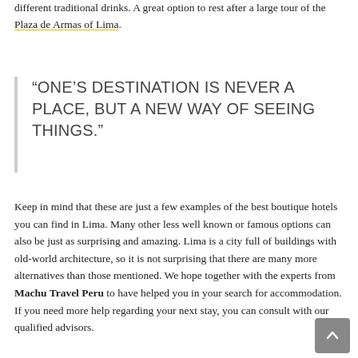different traditional drinks. A great option to rest after a large tour of the Plaza de Armas of Lima.
“ONE’S DESTINATION IS NEVER A PLACE, BUT A NEW WAY OF SEEING THINGS.”
Keep in mind that these are just a few examples of the best boutique hotels you can find in Lima. Many other less well known or famous options can also be just as surprising and amazing. Lima is a city full of buildings with old-world architecture, so it is not surprising that there are many more alternatives than those mentioned. We hope together with the experts from Machu Travel Peru to have helped you in your search for accommodation. If you need more help regarding your next stay, you can consult with our qualified advisors.